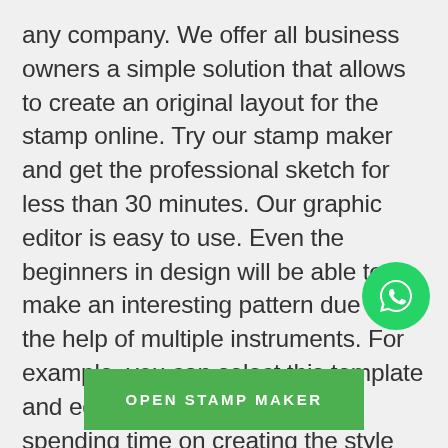any company. We offer all business owners a simple solution that allows to create an original layout for the stamp online. Try our stamp maker and get the professional sketch for less than 30 minutes. Our graphic editor is easy to use. Even the beginners in design will be able to make an interesting pattern due to the help of multiple instruments. For example, you can select this template and edit it. Thus, you won't be spending time on creating the style and details of your stamp. This corporate seal is a great model for office stamps. In the middle, you can add the name of your
[Figure (other): WhatsApp contact button — green circle with white phone/WhatsApp icon]
OPEN STAMP MAKER